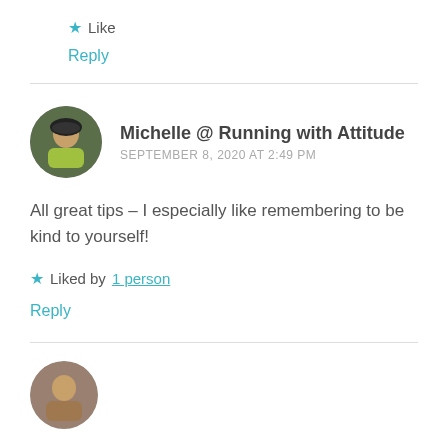★ Like
Reply
Michelle @ Running with Attitude
SEPTEMBER 8, 2020 AT 2:49 PM
[Figure (photo): Circular avatar photo of Michelle, a person wearing a hat and bright yellow/green top]
All great tips – I especially like remembering to be kind to yourself!
★ Liked by 1 person
Reply
[Figure (photo): Partial circular avatar photo at bottom of page]